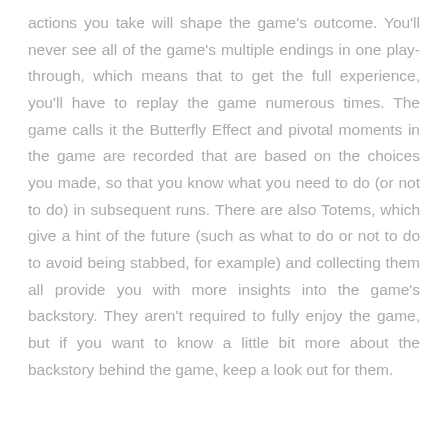actions you take will shape the game's outcome. You'll never see all of the game's multiple endings in one play-through, which means that to get the full experience, you'll have to replay the game numerous times. The game calls it the Butterfly Effect and pivotal moments in the game are recorded that are based on the choices you made, so that you know what you need to do (or not to do) in subsequent runs. There are also Totems, which give a hint of the future (such as what to do or not to do to avoid being stabbed, for example) and collecting them all provide you with more insights into the game's backstory. They aren't required to fully enjoy the game, but if you want to know a little bit more about the backstory behind the game, keep a look out for them.